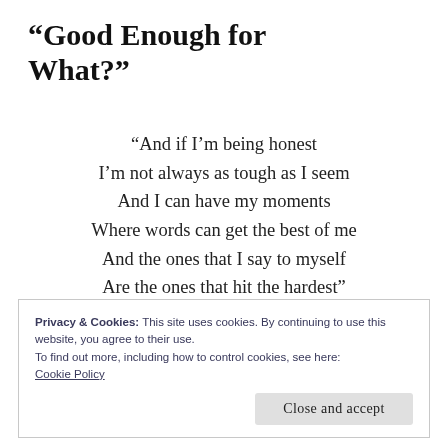“Good Enough for What?”
“And if I’m being honest
I’m not always as tough as I seem
And I can have my moments
Where words can get the best of me
And the ones that I say to myself
Are the ones that hit the hardest”
Privacy & Cookies: This site uses cookies. By continuing to use this website, you agree to their use.
To find out more, including how to control cookies, see here:
Cookie Policy
Close and accept